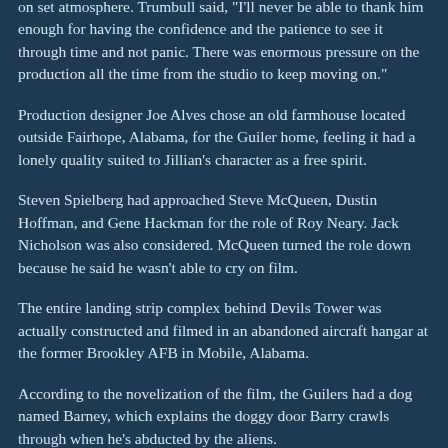on set atmosphere. Trumbull said, "I'll never be able to thank him enough for having the confidence and the patience to see it through time and not panic. There was enormous pressure on the production all the time from the studio to keep moving on."
Production designer Joe Alves chose an old farmhouse located outside Fairhope, Alabama, for the Guiler home, feeling it had a lonely quality suited to Jillian's character as a free spirit.
Steven Spielberg had approached Steve McQueen, Dustin Hoffman, and Gene Hackman for the role of Roy Neary. Jack Nicholson was also considered. McQueen turned the role down because he said he wasn't able to cry on film.
The entire landing strip complex behind Devils Tower was actually constructed and filmed in an abandoned aircraft hangar at the former Brookley AFB in Mobile, Alabama.
According to the novelization of the film, the Guilers had a dog named Barney, which explains the doggy door Barry crawls through when he's abducted by the aliens.
Because the future of Columbia Pictures was riding on the